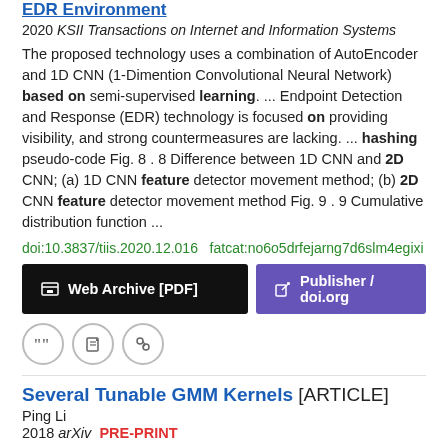EDR Environment
2020 KSII Transactions on Internet and Information Systems
The proposed technology uses a combination of AutoEncoder and 1D CNN (1-Dimention Convolutional Neural Network) based on semi-supervised learning. ... Endpoint Detection and Response (EDR) technology is focused on providing visibility, and strong countermeasures are lacking. ... hashing pseudo-code Fig. 8 . 8 Difference between 1D CNN and 2D CNN; (a) 1D CNN feature detector movement method; (b) 2D CNN feature detector movement method Fig. 9 . 9 Cumulative distribution function ...
doi:10.3837/tiis.2020.12.016  fatcat:no6o5drfejarng7d6slm4egixi
[Figure (other): Two buttons: 'Web Archive [PDF]' (black) and 'Publisher / doi.org' (purple), and three icon buttons (quote, edit, link)]
Several Tunable GMM Kernels [ARTICLE]
Ping Li
2018 arXiv  PRE-PRINT
In 2010, (Ping Li UAI'10) developed the method of "abc-robust-logitboost" and compared it with other supervised learning methods on datasets used by the deep learning literature. ... In this